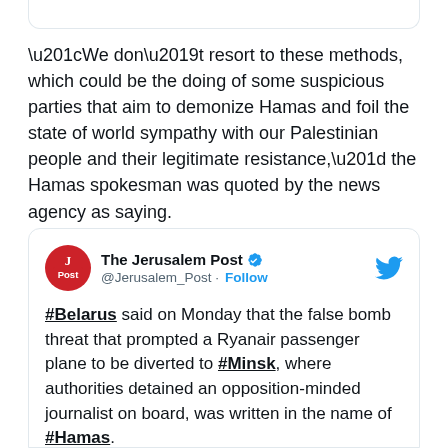“We don’t resort to these methods, which could be the doing of some suspicious parties that aim to demonize Hamas and foil the state of world sympathy with our Palestinian people and their legitimate resistance,” the Hamas spokesman was quoted by the news agency as saying.
[Figure (screenshot): Embedded tweet from The Jerusalem Post (@Jerusalem_Post) with verified badge and Follow button. Tweet text: #Belarus said on Monday that the false bomb threat that prompted a Ryanair passenger plane to be diverted to #Minsk, where authorities detained an opposition-minded journalist on board, was written in the name of #Hamas.]